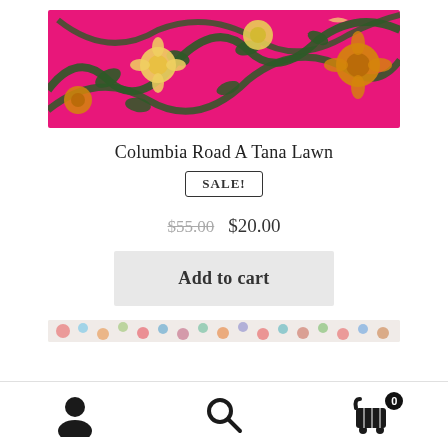[Figure (photo): Bright pink floral fabric with dark green leafy vines and yellow and orange flowers — Columbia Road A Tana Lawn product image]
Columbia Road A Tana Lawn
SALE!
$55.00  $20.00
Add to cart
[Figure (photo): Colorful floral fabric partially visible at bottom of page]
[Figure (other): Bottom navigation toolbar with user, search, and cart icons]